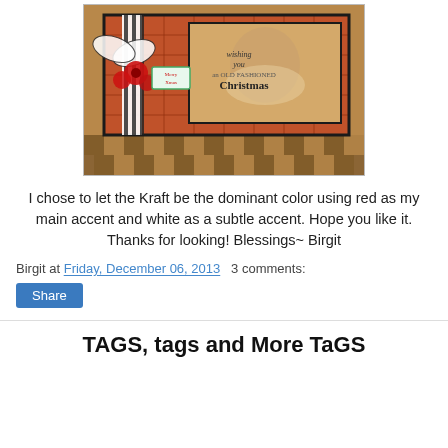[Figure (photo): A handmade Christmas card featuring a vintage Santa Claus image on kraft cardstock with orange/red plaid paper background, black and white gingham ribbon, red paper flowers, and a 'Merry Xmas' tag. Text on card reads 'wishing you an OLD FASHIONED Christmas'.]
I chose to let the Kraft be the dominant color using red as my main accent and white as a subtle accent. Hope you like it. Thanks for looking! Blessings~ Birgit
Birgit at Friday, December 06, 2013   3 comments:
Share
TAGS, tags and More TaGS